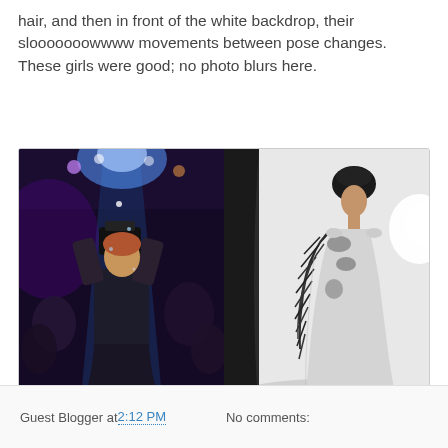hair, and then in front of the white backdrop, their slooooooowwww movements between pose changes. These girls were good; no photo blurs here.
[Figure (photo): Two side-by-side photos: left shows a backstage fashion event with a photographer/person with arms raised, blue and purple stage lights and crowd in background; right shows a model in a black and white feathered/textured gown posing in front of a white backdrop with studio lighting.]
Guest Blogger at 2:12 PM   No comments: